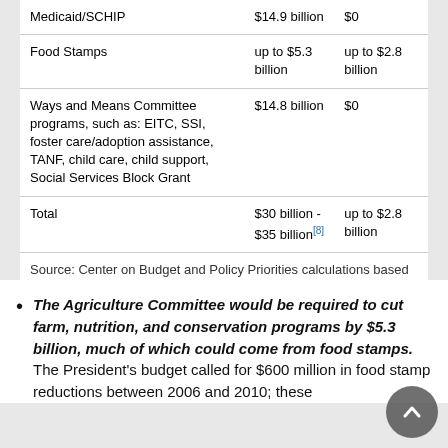| Program | Cuts Required | Off-Budget |
| --- | --- | --- |
| Medicaid/SCHIP | $14.9 billion | $0 |
| Food Stamps | up to $5.3 billion | up to $2.8 billion |
| Ways and Means Committee programs, such as: EITC, SSI, foster care/adoption assistance, TANF, child care, child support, Social Services Block Grant | $14.8 billion | $0 |
| Total | $30 billion - $35 billion[8] | up to $2.8 billion |
Source: Center on Budget and Policy Priorities calculations based on data provided in the House Budget Resolution and the Congressional Budget Office re-estimate of the proposals included in the President's FY 2006 proposed budget.
The Agriculture Committee would be required to cut farm, nutrition, and conservation programs by $5.3 billion, much of which could come from food stamps. The President's budget called for $600 million in food stamp reductions between 2006 and 2010; these...